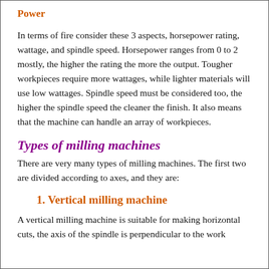Power
In terms of fire consider these 3 aspects, horsepower rating, wattage, and spindle speed. Horsepower ranges from 0 to 2 mostly, the higher the rating the more the output. Tougher workpieces require more wattages, while lighter materials will use low wattages. Spindle speed must be considered too, the higher the spindle speed the cleaner the finish. It also means that the machine can handle an array of workpieces.
Types of milling machines
There are very many types of milling machines. The first two are divided according to axes, and they are:
1. Vertical milling machine
A vertical milling machine is suitable for making horizontal cuts, the axis of the spindle is perpendicular to the work